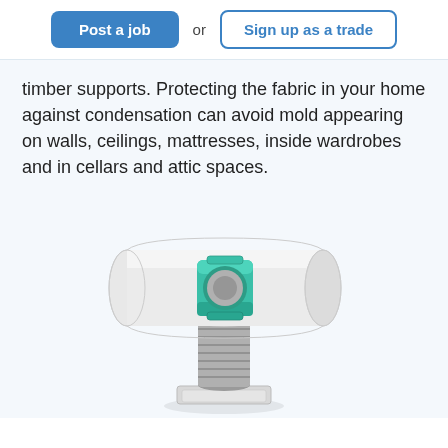Post a job | or | Sign up as a trade
timber supports. Protecting the fabric in your home against condensation can avoid mold appearing on walls, ceilings, mattresses, inside wardrobes and in cellars and attic spaces.
[Figure (photo): A ventilation unit product photo showing a cylindrical white duct with a teal/green connector clamp and a flexible grey corrugated hose extending downward to a flat square base plate, on a white background.]